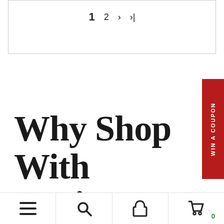1  2  >  >|
Why Shop With Jowissa
WIN A COUPON
≡  🔍  👤  🛍 0